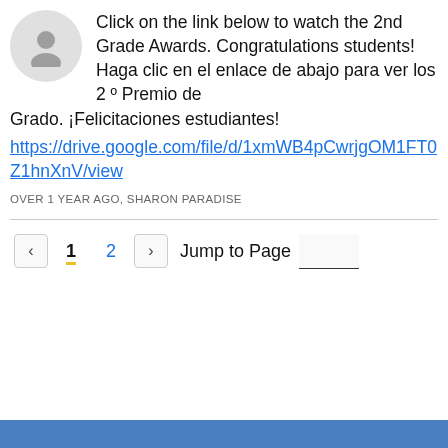Click on the link below to watch the 2nd Grade Awards. Congratulations students! Haga clic en el enlace de abajo para ver los 2 º Premio de Grado. ¡Felicitaciones estudiantes!
https://drive.google.com/file/d/1xmWB4pCwrjgOM1FT0Z1hnXnV/view
OVER 1 YEAR AGO, SHARON PARADISE
1 2  Jump to Page